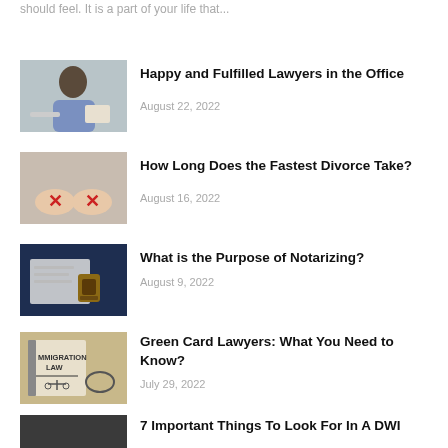should feel. It is a part of your life that...
[Figure (photo): Person with afro hairstyle holding paper, smiling at laptop]
Happy and Fulfilled Lawyers in the Office
August 22, 2022
[Figure (photo): Two hands with red X marks drawn on them]
How Long Does the Fastest Divorce Take?
August 16, 2022
[Figure (photo): Notary stamp on documents with pen]
What is the Purpose of Notarizing?
August 9, 2022
[Figure (photo): Immigration Law book with scales of justice and glasses]
Green Card Lawyers: What You Need to Know?
July 29, 2022
[Figure (photo): DWI related image]
7 Important Things To Look For In A DWI